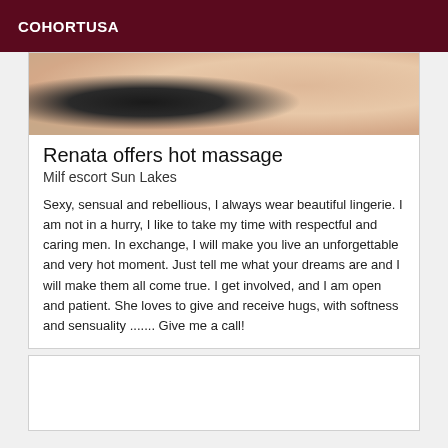COHORTUSA
[Figure (photo): Partial photo of a person, cropped, showing skin tones and dark clothing at the top of a listing card]
Renata offers hot massage
Milf escort Sun Lakes
Sexy, sensual and rebellious, I always wear beautiful lingerie. I am not in a hurry, I like to take my time with respectful and caring men. In exchange, I will make you live an unforgettable and very hot moment. Just tell me what your dreams are and I will make them all come true. I get involved, and I am open and patient. She loves to give and receive hugs, with softness and sensuality ....... Give me a call!